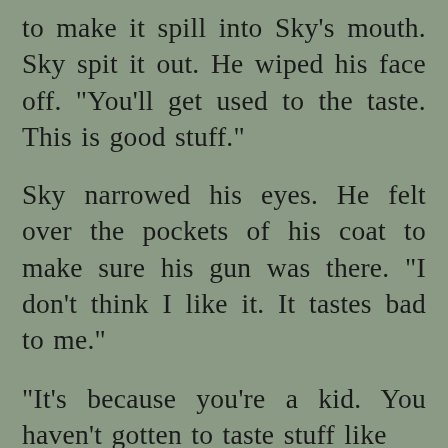to make it spill into Sky's mouth. Sky spit it out. He wiped his face off. "You'll get used to the taste. This is good stuff."
Sky narrowed his eyes. He felt over the pockets of his coat to make sure his gun was there. "I don't think I like it. It tastes bad to me."
"It's because you're a kid. You haven't gotten to taste stuff like